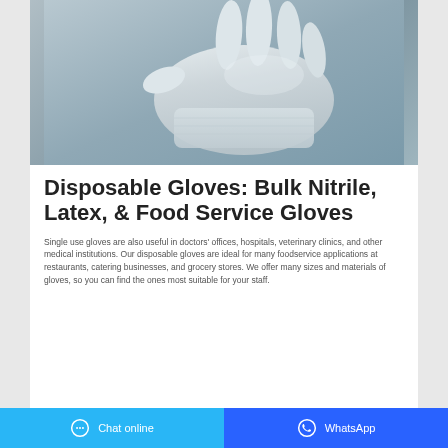[Figure (photo): A white disposable glove worn on a hand, shown against a gray-blue background, likely a nitrile or latex glove.]
Disposable Gloves: Bulk Nitrile, Latex, & Food Service Gloves
Single use gloves are also useful in doctors' offices, hospitals, veterinary clinics, and other medical institutions. Our disposable gloves are ideal for many foodservice applications at restaurants, catering businesses, and grocery stores. We offer many sizes and materials of gloves, so you can find the ones most suitable for your staff.
Chat online   WhatsApp